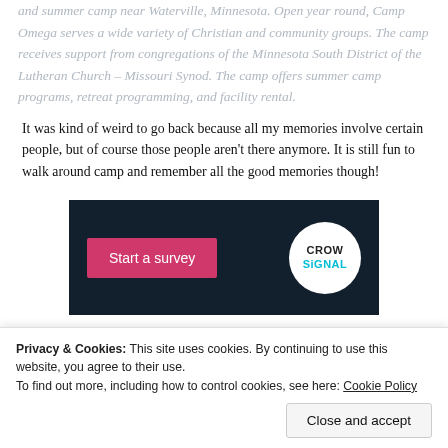and summer camp near Waterville, Minnesota. Open year round, Camp Omega serves a wide variety of Christian and community groups. The camp receives support from congregations of the Minnesota South District of the Lutheran Church – Missouri Synod. The camp offers summer camp programs, retreat programming, and facility rental.
It was kind of weird to go back because all my memories involve certain people, but of course those people aren't there anymore. It is still fun to walk around camp and remember all the good memories though!
[Figure (screenshot): A dark navy background screenshot showing a pink 'Start a survey' button on the left and a circular Crowd Signal logo on the right.]
Privacy & Cookies: This site uses cookies. By continuing to use this website, you agree to their use.
To find out more, including how to control cookies, see here: Cookie Policy
Close and accept